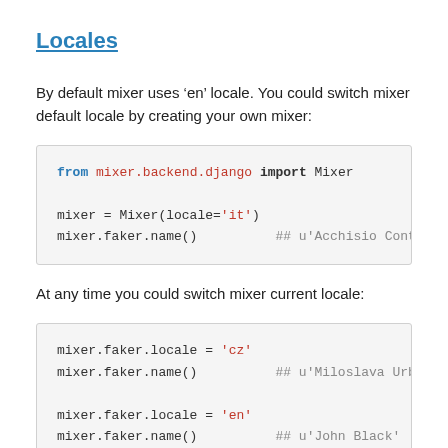Locales
By default mixer uses ‘en’ locale. You could switch mixer default locale by creating your own mixer:
[Figure (screenshot): Code block showing: from mixer.backend.django import Mixer
mixer = Mixer(locale='it')
mixer.faker.name()          ## u'Acchisio Conte']
At any time you could switch mixer current locale:
[Figure (screenshot): Code block showing:
mixer.faker.locale = 'cz'
mixer.faker.name()          ## u'Miloslava Urbanov
mixer.faker.locale = 'en'
mixer.faker.name()          ## u'John Black']